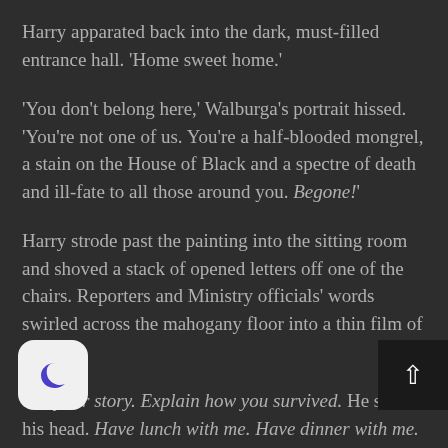Harry apparated back into the dark, must-filled entrance hall. 'Home sweet home.'
'You don't belong here,' Walburga's portrait hissed. 'You're not one of us. You're a half-blooded mongrel, a stain on the House of Black and a spectre of death and ill-fate to all those around you. Begone!'
Harry strode past the painting into the sitting room and shoved a stack of opened letters off one of the chairs. Reporters and Ministry officials' words swirled across the mahogany floor into a thin film of dust.
Tell your story. Explain how you survived. He shook his head. Have lunch with me. Have dinner with me. Come to my party. He scooped them all up and hurled them into the cold ashes of the fire grate.